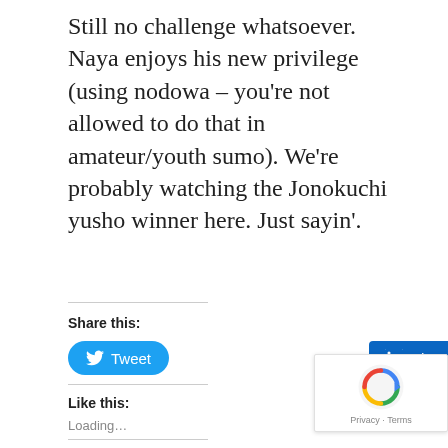Still no challenge whatsoever. Naya enjoys his new privilege (using nodowa – you're not allowed to do that in amateur/youth sumo). We're probably watching the Jonokuchi yusho winner here. Just sayin'.
Share this:
[Figure (other): Tweet button (Twitter/X social share button, blue rounded pill shape with Twitter bird icon)]
[Figure (other): Share button (LinkedIn social share button, blue rectangle with LinkedIn logo)]
Like this:
Loading...
[Figure (other): reCAPTCHA badge with spinning arrow logo and Privacy · Terms text]